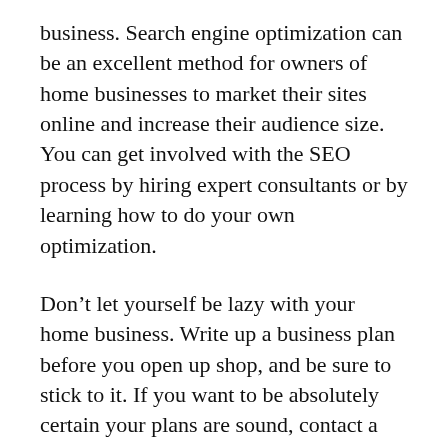business. Search engine optimization can be an excellent method for owners of home businesses to market their sites online and increase their audience size. You can get involved with the SEO process by hiring expert consultants or by learning how to do your own optimization.
Don’t let yourself be lazy with your home business. Write up a business plan before you open up shop, and be sure to stick to it. If you want to be absolutely certain your plans are sound, contact a business adviser for a few expert tips before you open your doors for business.